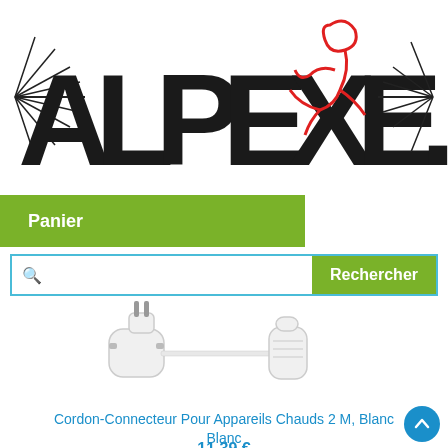[Figure (logo): Alpexe.com logo with bold block letters and decorative starburst patterns, with a red outline of a running figure integrated into the text]
Panier
Rechercher
[Figure (photo): White EU Schuko angled plug on left connected by a white cable to a C5 cloverleaf female connector on right, both on white background]
Cordon-Connecteur Pour Appareils Chauds 2 M, Blanc Blanc
11.39 €